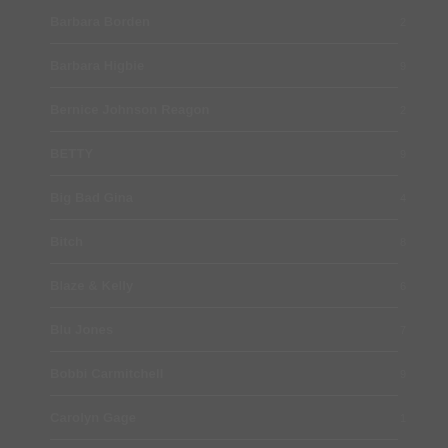Barbara Borden 2
Barbara Higbie 9
Bernice Johnson Reagon 2
BETTY 9
Big Bad Gina 4
Bitch 8
Blaze & Kelly 6
Blu Jones 7
Bobbi Carmitchell 9
Carolyn Gage 1
Cosse Culver 6
Catie Curtis 12
Christina Green 2